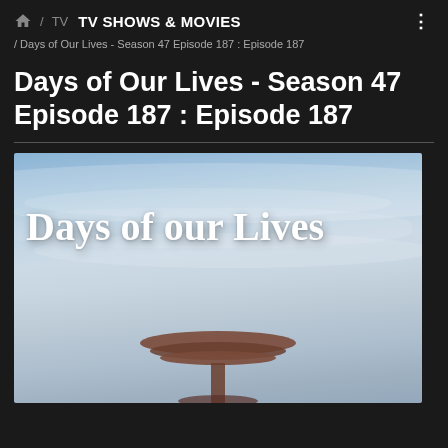TV SHOWS & MOVIES
/ Days of Our Lives - Season 47 Episode 187 : Episode 187
Days of Our Lives - Season 47 Episode 187 : Episode 187
[Figure (photo): Days of Our Lives TV show logo/title card against a blue sky with clouds and a decorative architectural structure at the bottom]